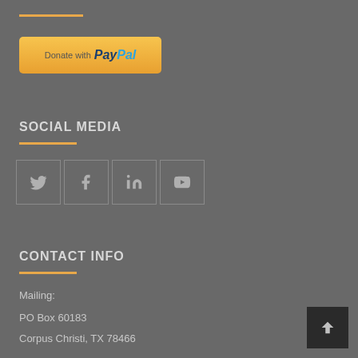[Figure (logo): Donate with PayPal button - gold/yellow gradient background with PayPal logo text in dark blue and light blue]
SOCIAL MEDIA
[Figure (infographic): Four social media icon boxes in a row: Twitter bird, Facebook f, LinkedIn in, YouTube play button]
CONTACT INFO
Mailing:
PO Box 60183
Corpus Christi, TX 78466